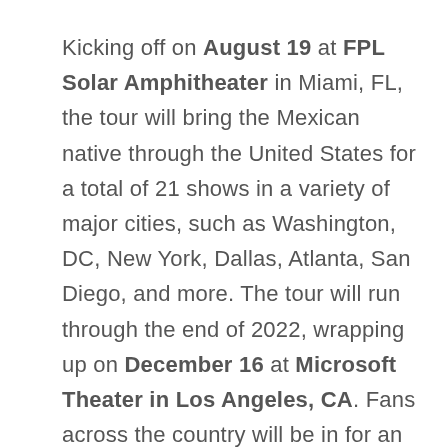Kicking off on August 19 at FPL Solar Amphitheater in Miami, FL, the tour will bring the Mexican native through the United States for a total of 21 shows in a variety of major cities, such as Washington, DC, New York, Dallas, Atlanta, San Diego, and more. The tour will run through the end of 2022, wrapping up on December 16 at Microsoft Theater in Los Angeles, CA. Fans across the country will be in for an unforgettable night of groundbreaking tunes that the talented young sensation has become globally recognized for, making him one of the most iconic...